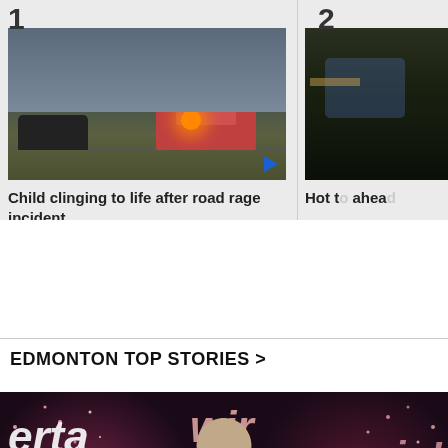[Figure (photo): News story card 1: tow truck at night accident scene with emergency lights]
Child clinging to life after road rage incident
[Figure (photo): News story card 2: partial view of nighttime scene]
Hot t... ahea...
EDMONTON TOP STORIES >
[Figure (photo): Man standing in front of Lotto 649 winner celebration backdrop with fireworks, text reads berta, win, again!]